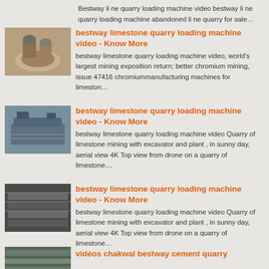Bestway li ne quarry loading machine video bestway li ne quarry loading machine abandoned li ne quarry for sale…
[Figure (photo): Industrial mining equipment, cone crusher parts on floor]
bestway limestone quarry loading machine video - Know More
bestway limestone quarry loading machine video, world's largest mining exposition return; better chromium mining, issue 47416 chromiummanufacturing machines for limeston…
[Figure (photo): Large industrial hopper or vibrating screen machine in warehouse]
bestway limestone quarry loading machine video - Know More
bestway limestone quarry loading machine video Quarry of limestone mining with excavator and plant , in sunny day, aerial view 4K Top view from drone on a quarry of limestone…
[Figure (photo): Dark metal plates or steel sheets stacked]
bestway limestone quarry loading machine video - Know More
bestway limestone quarry loading machine video Quarry of limestone mining with excavator and plant , in sunny day, aerial view 4K Top view from drone on a quarry of limestone…
[Figure (photo): Aerial or close view of quarry or mining machinery]
vidéos chakwal bestway cement quarry